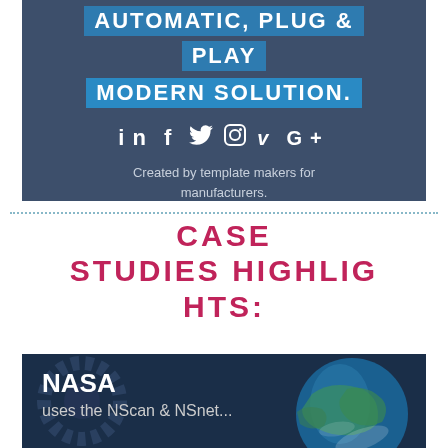[Figure (illustration): Dark blue banner with highlighted text 'AUTOMATIC, PLUG & PLAY' and 'MODERN SOLUTION.' with social media icons (LinkedIn, Facebook, Twitter, Instagram, Vimeo, Google+) and tagline 'Created by template makers for manufacturers.']
CASE STUDIES HIGHLIGHTS:
[Figure (photo): Dark banner with NASA text 'NASA uses the NScan & NSnet...' overlaid on a dark background with a photo of Earth globe on the right side.]